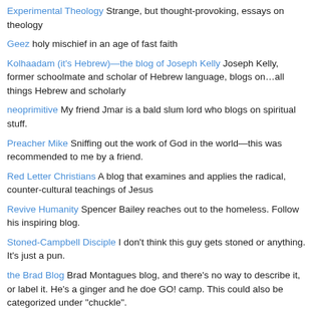Experimental Theology Strange, but thought-provoking, essays on theology
Geez holy mischief in an age of fast faith
Kolhaadam (it's Hebrew)—the blog of Joseph Kelly Joseph Kelly, former schoolmate and scholar of Hebrew language, blogs on…all things Hebrew and scholarly
neoprimitive My friend Jmar is a bald slum lord who blogs on spiritual stuff.
Preacher Mike Sniffing out the work of God in the world—this was recommended to me by a friend.
Red Letter Christians A blog that examines and applies the radical, counter-cultural teachings of Jesus
Revive Humanity Spencer Bailey reaches out to the homeless. Follow his inspiring blog.
Stoned-Campbell Disciple I don't think this guy gets stoned or anything. It's just a pun.
the Brad Blog Brad Montagues blog, and there's no way to describe it, or label it. He's a ginger and he doe GO! camp. This could also be categorized under "chuckle".
The Front Porch Philosopher Exploring the intersection of faith and